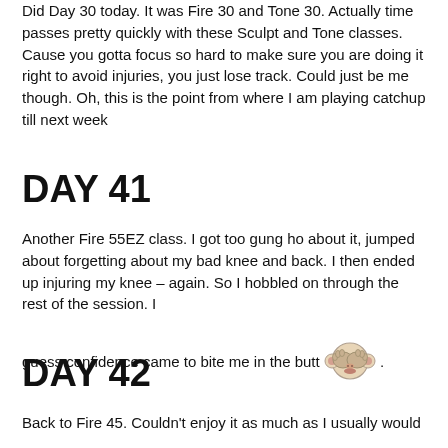Did Day 30 today. It was Fire 30 and Tone 30. Actually time passes pretty quickly with these Sculpt and Tone classes. Cause you gotta focus so hard to make sure you are doing it right to avoid injuries, you just lose track. Could just be me though. Oh, this is the point from where I am playing catchup till next week
DAY 41
Another Fire 55EZ class. I got too gung ho about it, jumped about forgetting about my bad knee and back. I then ended up injuring my knee – again. So I hobbled on through the rest of the session. I guess confidence came to bite me in the butt 🙈.
DAY 42
Back to Fire 45. Couldn't enjoy it as much as I usually would